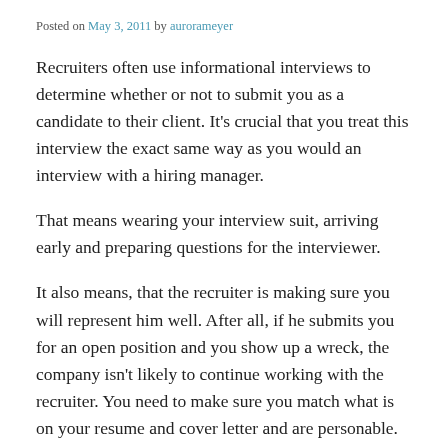Posted on May 3, 2011 by aurorameyer
Recruiters often use informational interviews to determine whether or not to submit you as a candidate to their client. It’s crucial that you treat this interview the exact same way as you would an interview with a hiring manager.
That means wearing your interview suit, arriving early and preparing questions for the interviewer.
It also means, that the recruiter is making sure you will represent him well. After all, if he submits you for an open position and you show up a wreck, the company isn’t likely to continue working with the recruiter. You need to make sure you match what is on your resume and cover letter and are personable.